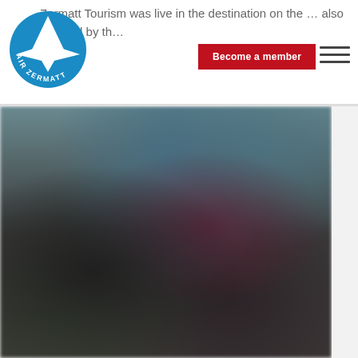[Figure (logo): Air Zermatt circular logo — blue circle with white mountain peak and stylized bird/helicopter shape, text 'AIR ZERMATT' around the bottom]
Zermatt Tourism was live in the destination on the … also stopped by th…
[Figure (other): Button: 'Become a member' on dark red/crimson background with white text]
[Figure (other): Hamburger menu icon — three horizontal dark lines on white background, top right of header]
[Figure (photo): Blurred/obscured photograph taking up the lower portion of the page. Colors suggest a dark outdoor or aerial scene with dark greens, grays, muted blues and dark reds/purples. A white/light gray sidebar strip appears on the right edge.]